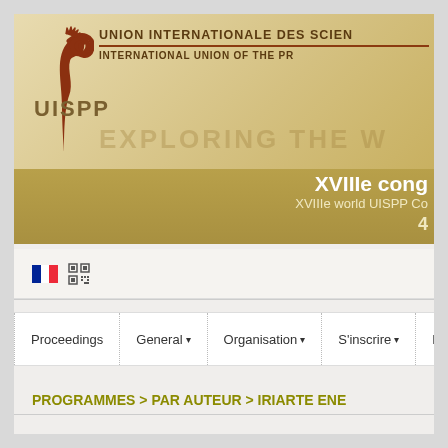[Figure (logo): UISPP website header banner with logo, organization name in French and English, 'EXPLORING THE W...' tagline, and XVIIIe congress information on golden/khaki gradient background]
[Figure (illustration): French flag icon and QR code icon in the toolbar area below the banner]
Proceedings | General ▾ | Organisation ▾ | S'inscrire ▾ | Pro
PROGRAMMES > PAR AUTEUR > IRIARTE ENE...